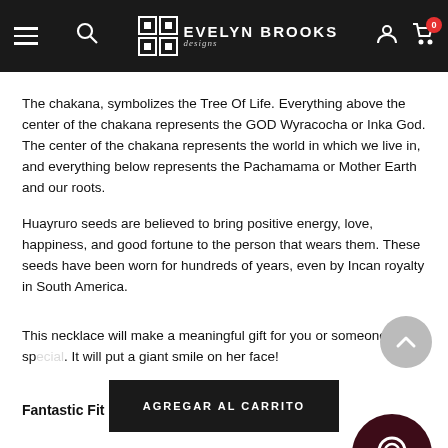[Figure (screenshot): Evelyn Brooks Designs website navigation bar with hamburger menu, search icon, logo, user icon, and cart icon with badge showing 0]
The chakana, symbolizes the Tree Of Life. Everything above the center of the chakana represents the GOD Wyracocha or Inka God. The center of the chakana represents the world in which we live in, and everything below represents the Pachamama or Mother Earth and our roots.
Huayruro seeds are believed to bring positive energy, love, happiness, and good fortune to the person that wears them. These seeds have been worn for hundreds of years, even by Incan royalty in South America.
This necklace will make a meaningful gift for you or someone special. It will put a giant smile on her face!
Fantastic Fit
AGREGAR AL CARRITO